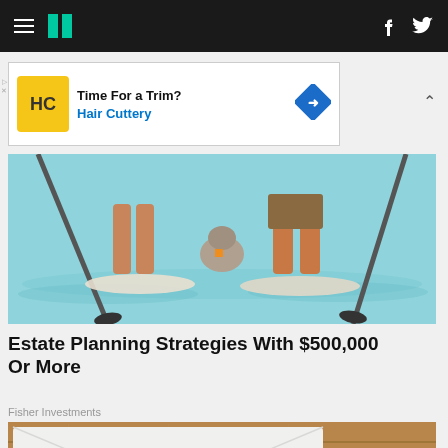HuffPost navigation header with hamburger menu, logo, Facebook and Twitter icons
[Figure (screenshot): Advertisement banner: Time For a Trim? Hair Cuttery with HC logo and blue diamond arrow icon]
[Figure (photo): Two people and a dog paddleboarding on water, viewed from waist down, with paddles visible]
Estate Planning Strategies With $500,000 Or More
Fisher Investments
[Figure (photo): Letter/envelope on wooden table reading 'Congratulations You're pre-approved!' in black and red text]